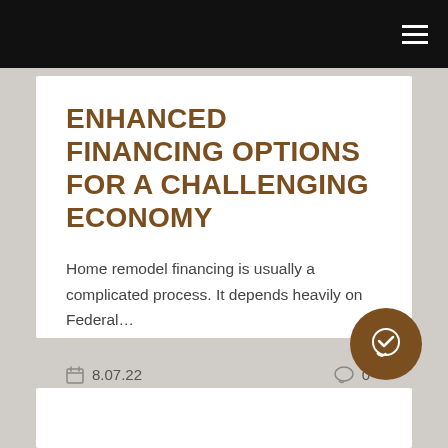Navigation bar
ENHANCED FINANCING OPTIONS FOR A CHALLENGING ECONOMY
Home remodel financing is usually a complicated process. It depends heavily on Federal…
8.07.22   0